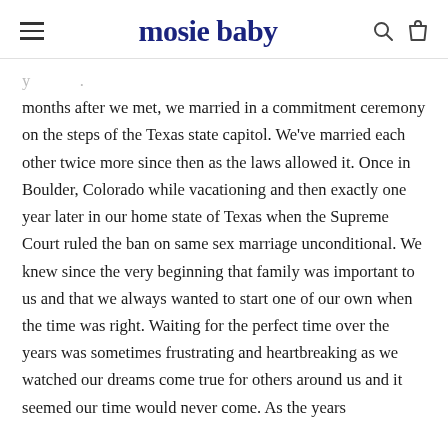mosie baby
months after we met, we married in a commitment ceremony on the steps of the Texas state capitol. We've married each other twice more since then as the laws allowed it. Once in Boulder, Colorado while vacationing and then exactly one year later in our home state of Texas when the Supreme Court ruled the ban on same sex marriage unconditional. We knew since the very beginning that family was important to us and that we always wanted to start one of our own when the time was right. Waiting for the perfect time over the years was sometimes frustrating and heartbreaking as we watched our dreams come true for others around us and it seemed our time would never come. As the years